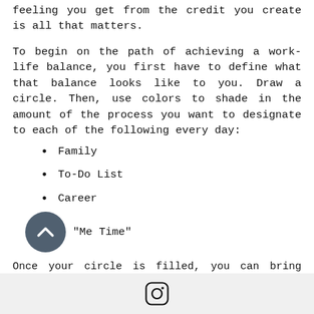feeling you get from the credit you create is all that matters.
To begin on the path of achieving a work-life balance, you first have to define what that balance looks like to you. Draw a circle. Then, use colors to shade in the amount of the process you want to designate to each of the following every day:
Family
To-Do List
Career
"Me Time"
Once your circle is filled, you can bring your best-case scenario to life. This